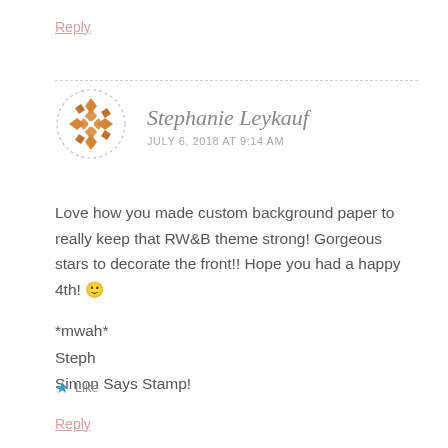Reply
[Figure (illustration): Circular avatar with decorative geometric orange/brown pattern on white dashed circle border]
Stephanie Leykauf
JULY 6, 2018 AT 9:14 AM
Love how you made custom background paper to really keep that RW&B theme strong! Gorgeous stars to decorate the front!! Hope you had a happy 4th! 🙂
*mwah*
Steph
Simon Says Stamp!
★ Like
Reply